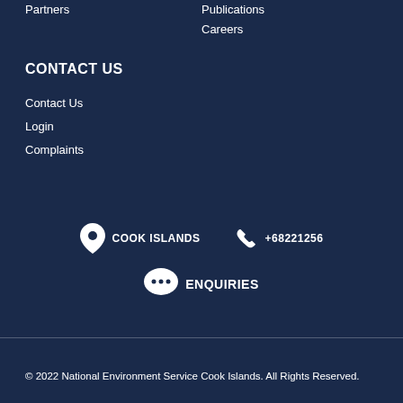Partners
Publications
Careers
CONTACT US
Contact Us
Login
Complaints
COOK ISLANDS
+68221256
ENQUIRIES
© 2022 National Environment Service Cook Islands. All Rights Reserved.